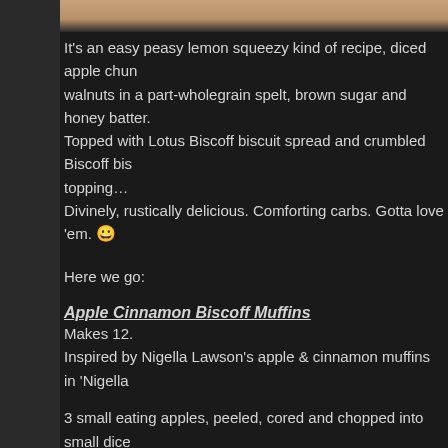[Figure (photo): Top portion of a food photo showing a baked muffin, cropped at the top of the page]
It's an easy peasy lemon squeezy kind of recipe, diced apple chunks and walnuts in a part-wholegrain spelt, brown sugar and honey batter. Topped with Lotus Biscoff biscuit spread and crumbled Biscoff biscuit topping… Divinely, rustically delicious. Comforting carbs. Gotta love 'em. 😀
Here we go:
Apple Cinnamon Biscoff Muffins
Makes 12.
Inspired by Nigella Lawson's apple & cinnamon muffins in 'Nigella
3 small eating apples, peeled, cored and chopped into small dice
125g plain flour
125g Wholemeal spelt flour
1tsp. ground cinnamon
1tsp. vanilla extract
125g light brown sugar
125 ml honey